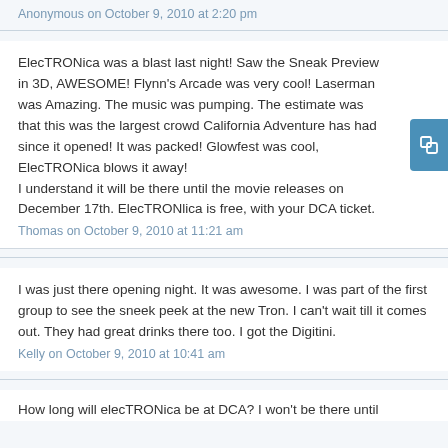Anonymous on October 9, 2010 at 2:20 pm
ElecTRONica was a blast last night! Saw the Sneak Preview in 3D, AWESOME! Flynn's Arcade was very cool! Laserman was Amazing. The music was pumping. The estimate was that this was the largest crowd California Adventure has had since it opened! It was packed! Glowfest was cool, ElecTRONica blows it away!
I understand it will be there until the movie releases on December 17th. ElecTRONlica is free, with your DCA ticket.
Thomas on October 9, 2010 at 11:21 am
I was just there opening night. It was awesome. I was part of the first group to see the sneek peek at the new Tron. I can't wait till it comes out. They had great drinks there too. I got the Digitini.
Kelly on October 9, 2010 at 10:41 am
How long will elecTRONica be at DCA? I won't be there until